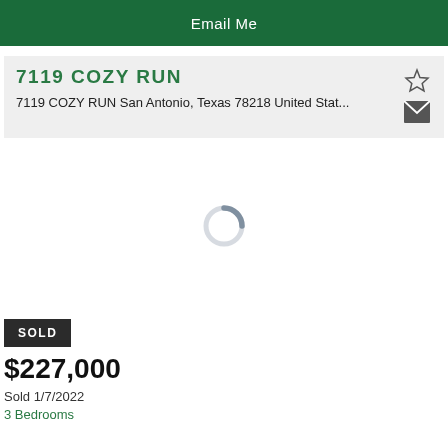Email Me
7119 COZY RUN
7119 COZY RUN San Antonio, Texas 78218 United Stat...
[Figure (illustration): Loading spinner ring in center of white image area]
SOLD
$227,000
Sold 1/7/2022
3 Bedrooms